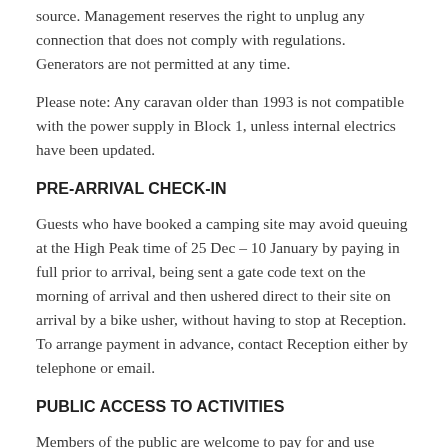source. Management reserves the right to unplug any connection that does not comply with regulations. Generators are not permitted at any time.
Please note: Any caravan older than 1993 is not compatible with the power supply in Block 1, unless internal electrics have been updated.
PRE-ARRIVAL CHECK-IN
Guests who have booked a camping site may avoid queuing at the High Peak time of 25 Dec – 10 January by paying in full prior to arrival, being sent a gate code text on the morning of arrival and then ushered direct to their site on arrival by a bike usher, without having to stop at Reception.  To arrange payment in advance, contact Reception either by telephone or email.
PUBLIC ACCESS TO ACTIVITIES
Members of the public are welcome to pay for and use